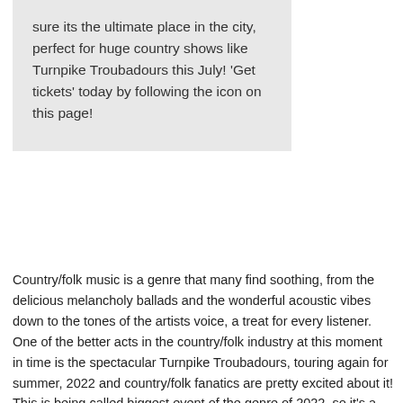sure its the ultimate place in the city, perfect for huge country shows like Turnpike Troubadours this July! 'Get tickets' today by following the icon on this page!
Country/folk music is a genre that many find soothing, from the delicious melancholy ballads and the wonderful acoustic vibes down to the tones of the artists voice, a treat for every listener. One of the better acts in the country/folk industry at this moment in time is the spectacular Turnpike Troubadours, touring again for summer, 2022 and country/folk fanatics are pretty excited about it! This is being called biggest event of the genre of 2022, so it's a pretty big deal. This GREAT evening in July, will be held at none other that the favorite venue for music in the state, maybe in the whole of the country, its